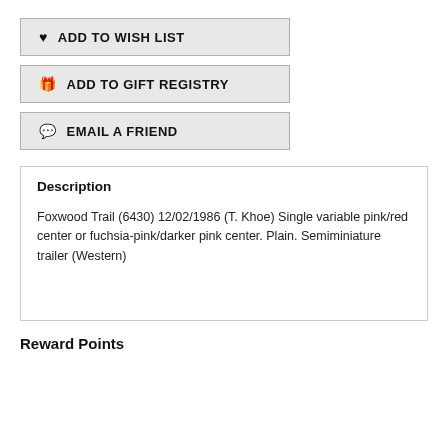♥ ADD TO WISH LIST
🎁 ADD TO GIFT REGISTRY
💬 EMAIL A FRIEND
Description
Foxwood Trail (6430) 12/02/1986 (T. Khoe) Single variable pink/red center or fuchsia-pink/darker pink center. Plain. Semiminiature trailer (Western)
Reward Points